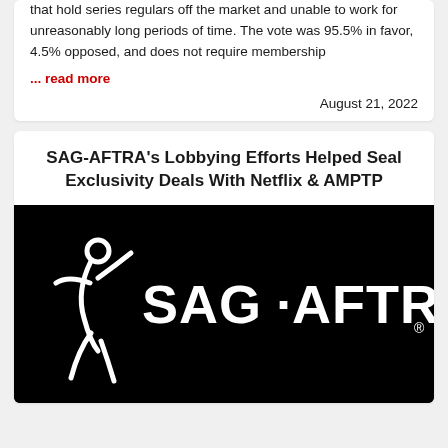that hold series regulars off the market and unable to work for unreasonably long periods of time. The vote was 95.5% in favor, 4.5% opposed, and does not require membership
... read more
August 21, 2022
SAG-AFTRA's Lobbying Efforts Helped Seal Exclusivity Deals With Netflix & AMPTP
[Figure (logo): SAG-AFTRA logo on black background — white stylized figure icon on the left and white text 'SAG·AFTRA.' on the right]